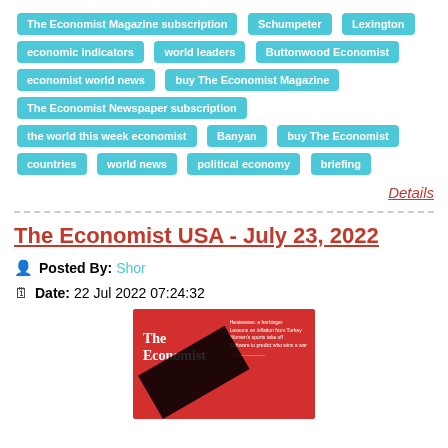The Economist Magazine subscription
Schumpeter
Lexington
economic indicators
world leaders
Buttonwood Economist
economist world news
buy The Economist Magazine
The Economist Newspaper subscription
the world this week economist
Banyan
buy The Economist
countries
world news
political economy
briefing
Details
The Economist USA - July 23, 2022
Posted By: Shor
Date: 22 Jul 2022 07:24:32
[Figure (photo): Cover of The Economist USA - July 23, 2022 magazine with red background, The Economist title in white, article teasers on the right, and a large black graphic element at the bottom]